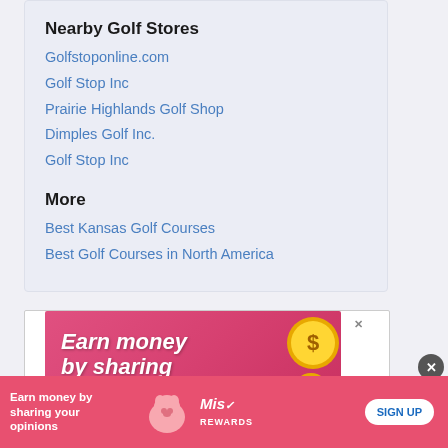Nearby Golf Stores
Golfstoponline.com
Golf Stop Inc
Prairie Highlands Golf Shop
Dimples Golf Inc.
Golf Stop Inc
More
Best Kansas Golf Courses
Best Golf Courses in North America
[Figure (screenshot): Advertisement banner: pink/red gradient background with bold white italic text 'Earn money by sharing your opinions' and gold coin graphics with dollar signs. Includes a close X button.]
[Figure (screenshot): Bottom sticky ad bar: pink background with 'Earn money by sharing your opinions' text, animated pig image, Mis Rewards logo, and SIGN UP button.]